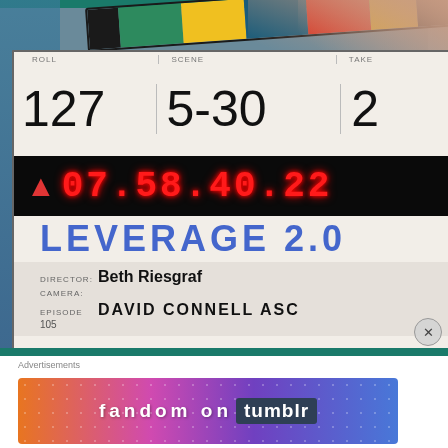[Figure (photo): A film clapperboard for 'LEVERAGE 2.0', showing Roll 127, Scene 5-30, Take 2, with red LED timecode display reading 07:58:40:22. Director: Beth Riesgraf, Camera: David Connell ASC, Episode 105.]
Advertisements
[Figure (photo): Fandom on Tumblr advertisement banner with colorful gradient background (orange, pink, purple, blue) showing text 'fandom on tumblr'.]